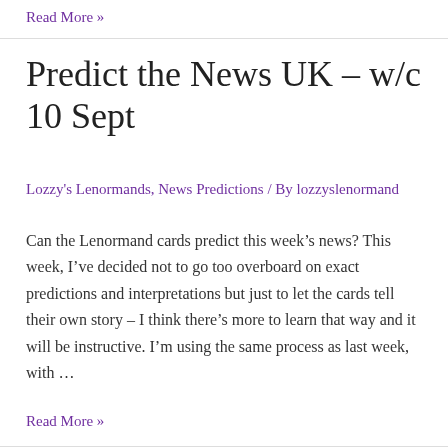Read More »
Predict the News UK – w/c 10 Sept
Lozzy's Lenormands, News Predictions / By lozzyslenormand
Can the Lenormand cards predict this week's news? This week, I've decided not to go too overboard on exact predictions and interpretations but just to let the cards tell their own story – I think there's more to learn that way and it will be instructive. I'm using the same process as last week, with …
Read More »
Rider Card Combinations